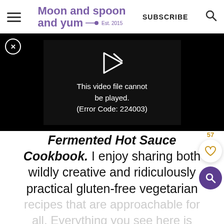Moon and spoon and yum — Est. 2015 | SUBSCRIBE
[Figure (screenshot): Video player error screen showing broken video with play icon and message: 'This video file cannot be played. (Error Code: 224003)' on black background]
Fermented Hot Sauce Cookbook. I enjoy sharing both wildly creative and ridiculously practical gluten-free vegetarian recipes that are approachable for all. Everything you see here is...